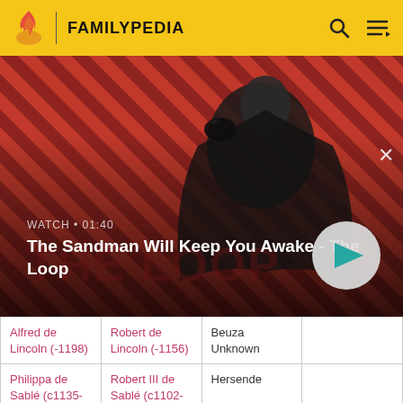FAMILYPEDIA
[Figure (screenshot): Promotional banner for 'The Sandman Will Keep You Awake - The Loop' showing a dark-cloaked figure with a raven on shoulder against a red and dark striped background. Overlay text reads WATCH • 01:40 and title. A circular play button is visible at right.]
| Alfred de Lincoln (-1198) | Robert de Lincoln (-1156) | Beuza Unknown |  |
| Philippa de Sablé (c1135-c1182) | Robert III de Sablé (c1102-1152) | Hersende |  |